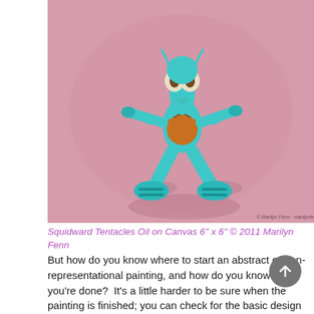[Figure (illustration): Oil painting of Squidward Tentacles character from SpongeBob SquarePants, depicted as a blue cartoon figure with large white eyes, orange shirt/body, tentacle arms and legs, walking pose, on a pink background. Watermark in bottom right reads '© Marilyn Fenn - marilynfenn.com']
Squidward Tentacles Oil on Canvas 6" x 6" © 2011 Marilyn Fenn
But how do you know where to start an abstract or non-representational painting, and how do you know when you're done?  It's a little harder to be sure when the painting is finished; you can check for the basic design